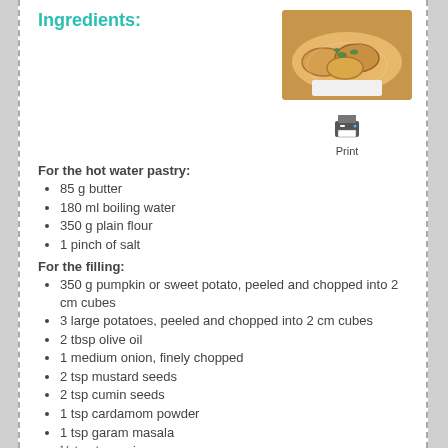Ingredients:
[Figure (photo): Photo of pastry/dumpling dishes on a white plate with garnish]
[Figure (other): Print button icon with label 'Print']
For the hot water pastry:
85 g butter
180 ml boiling water
350 g plain flour
1 pinch of salt
For the filling:
350 g pumpkin or sweet potato, peeled and chopped into 2 cm cubes
3 large potatoes, peeled and chopped into 2 cm cubes
2 tbsp olive oil
1 medium onion, finely chopped
2 tsp mustard seeds
2 tsp cumin seeds
1 tsp cardamom powder
1 tsp garam masala
½ tsp turmeric
salt and pepper, to taste
3 large handfuls peas, podded
1 small handful of coriander, chopped
Method:
What to do: